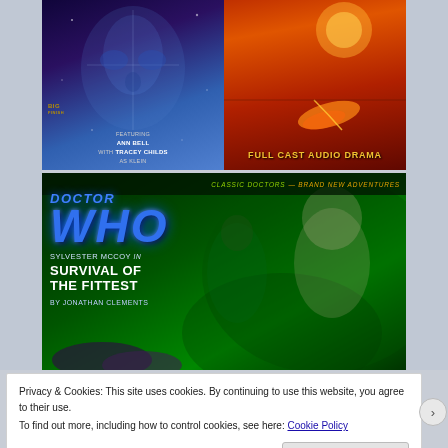[Figure (illustration): Top portion showing two audio drama covers side by side. Left: dark blue/purple sci-fi face with text 'Big Finish', 'Featuring Ann Bell with Tracey Childs as Klein', 'Full Cast Audio Drama'. Right: fiery orange/red sky with feather and text 'Full Cast Audio Drama'.]
[Figure (illustration): Doctor Who audio drama cover: 'Classic Doctors – Brand New Adventures' banner, Doctor Who logo in blue, 'Sylvester McCoy in Survival of the Fittest by Jonathan Clements', green jungle background with two characters.]
Privacy & Cookies: This site uses cookies. By continuing to use this website, you agree to their use.
To find out more, including how to control cookies, see here: Cookie Policy
Close and accept